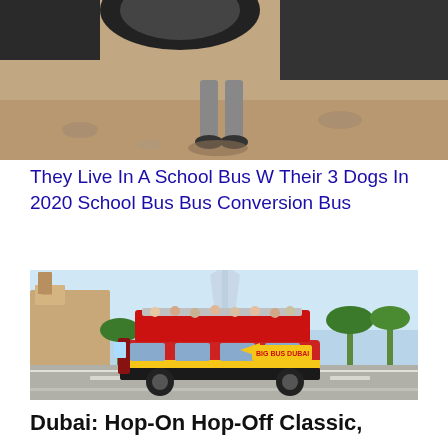[Figure (photo): Top portion of a photo showing someone standing next to a large vehicle/truck on sandy/rocky ground, viewed from above]
They Live In A School Bus W Their 3 Dogs In 2020 School Bus Bus Conversion Bus
[Figure (photo): A red and yellow Big Bus Dubai double-decker open-top tourist bus driving through a Dubai street with palm trees, Burj Al Arab visible in background, Madinat Jumeirah architecture on left]
Dubai: Hop-On Hop-Off Classic,